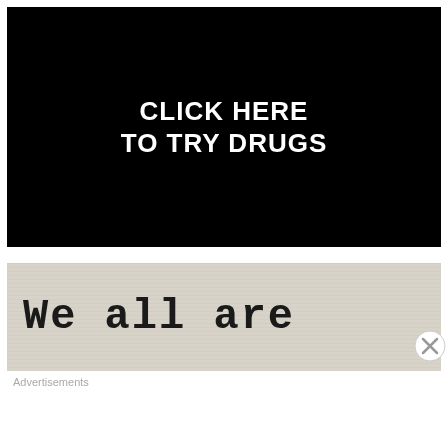[Figure (screenshot): Black background image with white bold uppercase text reading 'CLICK HERE TO TRY DRUGS']
[Figure (photo): Typewriter-style text on crumpled paper background reading 'We all are' with watermark 'riseafterfalling.tumblr' in top right corner]
Advertisements
[Figure (infographic): DuckDuckGo advertisement banner with orange background text 'Search, browse, and email with more privacy. All in One Free App' and DuckDuckGo logo on dark right panel]